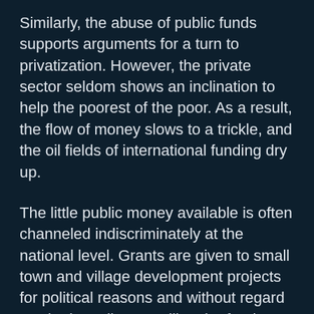Similarly, the abuse of public funds supports arguments for a turn to privatization. However, the private sector seldom shows an inclination to help the poorest of the poor. As a result, the flow of money slows to a trickle, and the oil fields of international funding dry up.
The little public money available is often channeled indiscriminately at the national level. Grants are given to small town and village development projects for political reasons and without regard to who is really controlling the funds. In community and household-based data, gross averages hide income disparities within communities. The money flows to the well-organized or well-